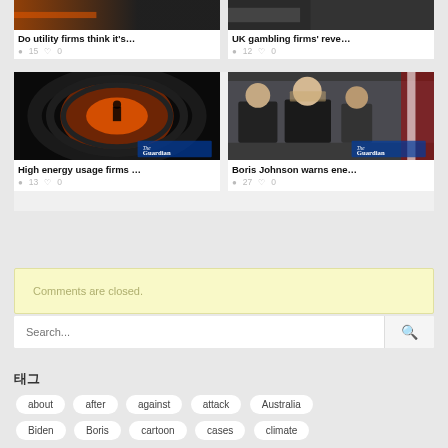[Figure (screenshot): Top row article card: dark/orange header image, title 'Do utility firms think it's…', views 15, likes 0]
[Figure (screenshot): Top row article card: dark header image, title 'UK gambling firms' reve…', views 12, likes 0]
[Figure (screenshot): Mid row article card: The Guardian - tunnel with figure and orange glow, title 'High energy usage firms …', views 13, likes 0]
[Figure (screenshot): Mid row article card: The Guardian - politicians at meeting (Boris Johnson), title 'Boris Johnson warns ene…', views 27, likes 0]
Comments are closed.
Search...
태그
about
after
against
attack
Australia
Biden
Boris
cartoon
cases
climate